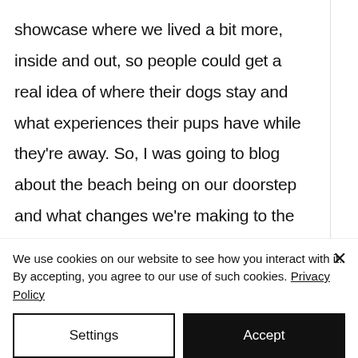showcase where we lived a bit more, inside and out, so people could get a real idea of where their dogs stay and what experiences their pups have while they're away. So, I was going to blog about the beach being on our doorstep and what changes we're making to the
We use cookies on our website to see how you interact with it. By accepting, you agree to our use of such cookies. Privacy Policy